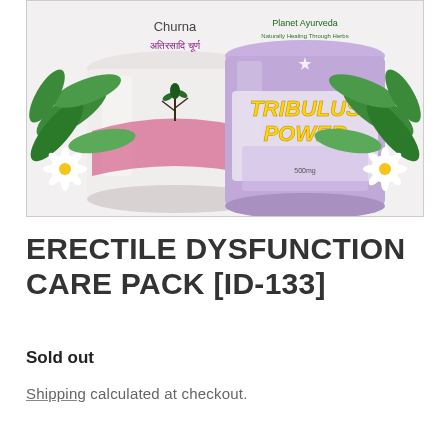[Figure (photo): Two Planet Ayurveda product jars: a white jar labeled 'Churna' with Hindi text 'अतिरसादि चूर्ण' and a purple jar labeled 'TRIBULUS POWER', both flanked by green leaves and white daisy flowers on a light background.]
ERECTILE DYSFUNCTION CARE PACK [ID-133]
Sold out
Shipping calculated at checkout.